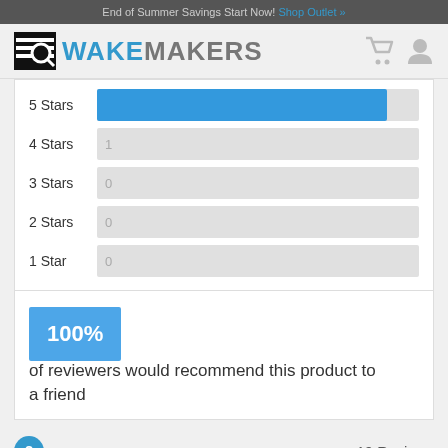End of Summer Savings Start Now! Shop Outlet »
[Figure (logo): WakeMakers logo with search icon and brand name]
[Figure (bar-chart): Star ratings distribution]
100% of reviewers would recommend this product to a friend
19 Reviews